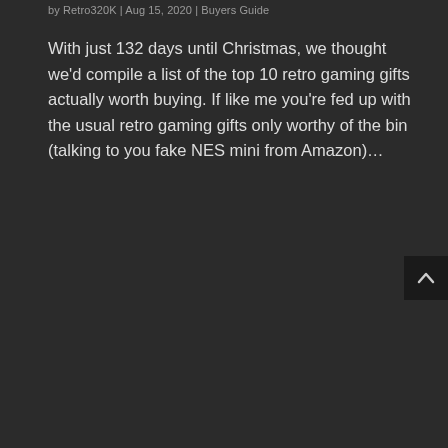by Retro320K | Aug 15, 2020 | Buyers Guide
With just 132 days until Christmas, we thought we'd compile a list of the top 10 retro gaming gifts actually worth buying. If like me you're fed up with the usual retro gaming gifts only worthy of the bin (talking to you fake NES mini from Amazon)...
[Figure (other): Scroll-to-top button with upward chevron arrow, dark background]